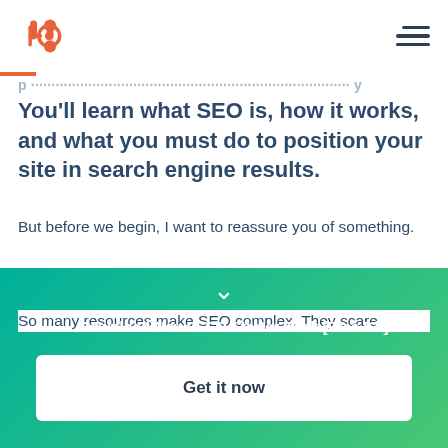HubSpot [logo] [hamburger menu]
You'll learn what SEO is, how it works, and what you must do to position your site in search engine results.
But before we begin, I want to reassure you of something.
So many resources make SEO complex. They scare
→ Download Now: SEO Starter Pack [Free Kit]
Get it now